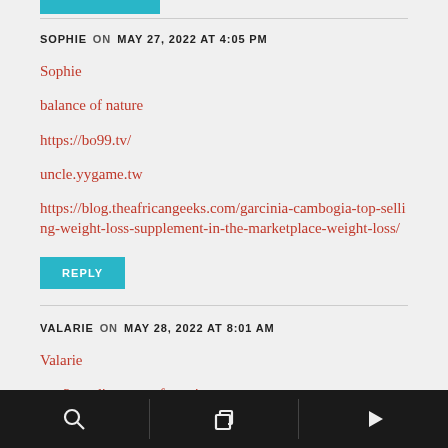SOPHIE   ON   MAY 27, 2022 AT 4:05 PM
Sophie
balance of nature
https://bo99.tv/
uncle.yygame.tw
https://blog.theafricangeeks.com/garcinia-cambogia-top-selling-weight-loss-supplement-in-the-marketplace-weight-loss/
VALARIE   ON   MAY 28, 2022 AT 8:01 AM
Valarie
arm2rus-dict.sourceforge.io
balance of nature